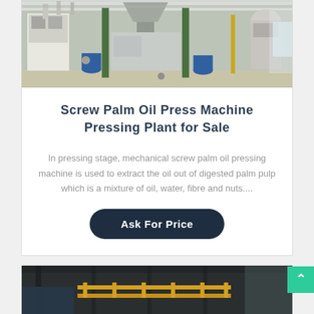[Figure (photo): Industrial palm oil pressing plant interior showing machinery, pipes, green structural columns, and processing equipment in a large warehouse.]
Screw Palm Oil Press Machine Pressing Plant for Sale
In pressing stage, mechanical screw palm oil pressing machine is used to extract the oil out of digested palm pulp which is a mixture of oil, water, fibre and nuts....
Ask For Price
[Figure (photo): Industrial interior with yellow railing/guardrails and large overhead beams in a dark factory setting.]